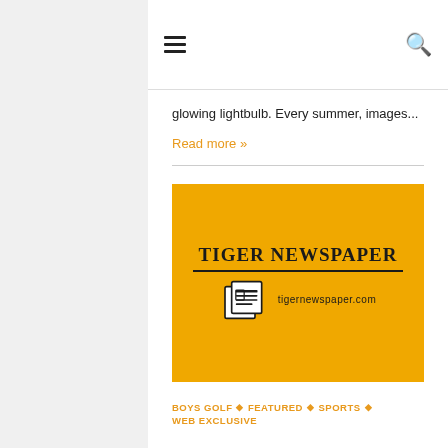☰  🔍
glowing lightbulb. Every summer, images...
Read more »
[Figure (logo): Tiger Newspaper logo on orange background with newspaper icon and URL tigernewspaper.com]
BOYS GOLF ◆ FEATURED ◆ SPORTS ◆
WEB EXCLUSIVE